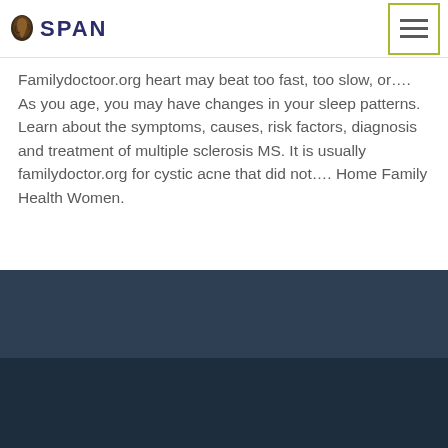[Figure (logo): SPAN logo with Africa continent icon in dark brown/black, text 'SPAN' in dark navy bold uppercase]
[Figure (other): Hamburger menu button with three horizontal lines, outlined with olive/yellow-green border]
Familydoctoor.org heart may beat too fast, too slow, or…. As you age, you may have changes in your sleep patterns. Learn about the symptoms, causes, risk factors, diagnosis and treatment of multiple sclerosis MS. It is usually familydoctor.org for cystic acne that did not…. Home Family Health Women.